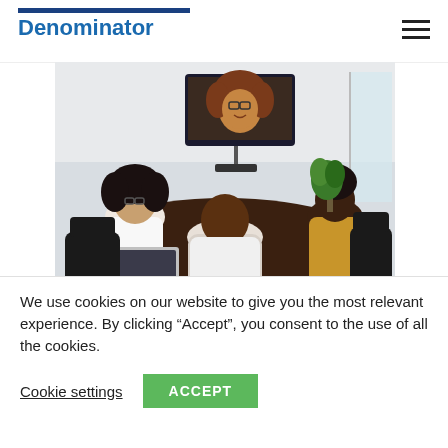Denominator
[Figure (photo): Business meeting scene: several people seated around a dark conference table, one person visible on a large TV screen mounted on the wall (video call), one participant using a laptop, office setting with windows.]
The FO Equity Index: Taking the Next Steps on DEI
We use cookies on our website to give you the most relevant experience. By clicking “Accept”, you consent to the use of all the cookies.
Cookie settings  ACCEPT